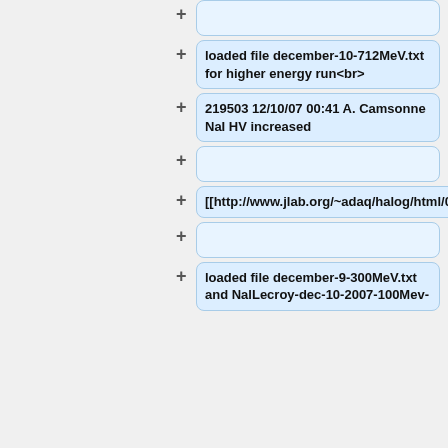+ (empty bubble at top)
+ loaded file december-10-712MeV.txt for higher energy run<br>
+ 219503 12/10/07 00:41 A. Camsonne NaI HV increased
+ (empty bubble)
+ [[http://www.jlab.org/~adaq/halog/html/0712_archive/071210004113.html]]
+ (empty bubble)
+ loaded file december-9-300MeV.txt and NalLecroy-dec-10-2007-100Mev-